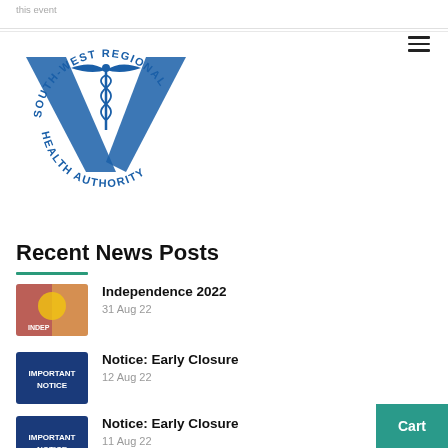this event
[Figure (logo): South-West Regional Health Authority logo with caduceus symbol in blue]
Recent News Posts
Independence 2022 · 31 Aug 22
Notice: Early Closure · 12 Aug 22
Notice: Early Closure · 11 Aug 22
OPT · 11 Aug 22